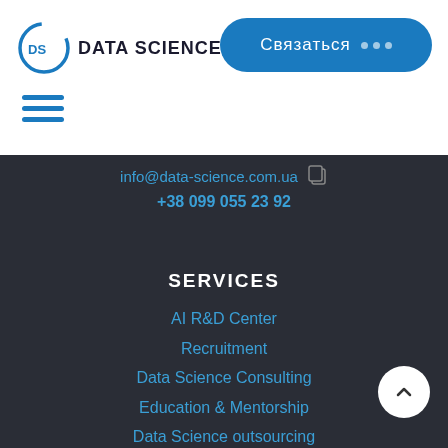[Figure (logo): Data Science UA logo with DS initials in a circular icon and 'DATA SCIENCE UA' text]
[Figure (other): Blue rounded rectangle button with text 'Связаться' and three dots]
[Figure (other): Blue hamburger menu icon with three horizontal lines]
info@data-science.com.ua
+38 099 055 23 92
SERVICES
AI R&D Center
Recruitment
Data Science Consulting
Education & Mentorship
Data Science outsourcing